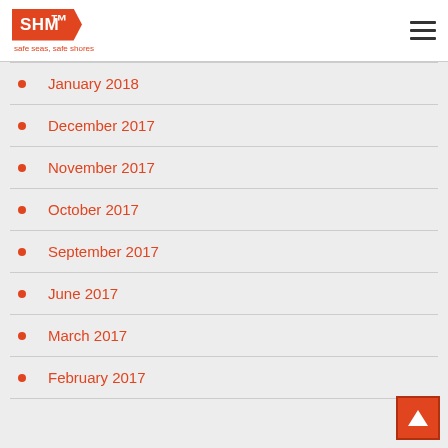SHM — safe seas, safe shores
January 2018
December 2017
November 2017
October 2017
September 2017
June 2017
March 2017
February 2017